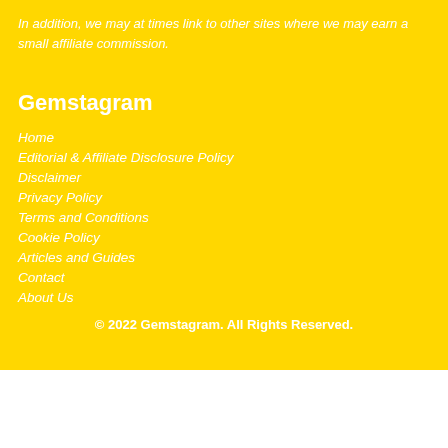In addition, we may at times link to other sites where we may earn a small affiliate commission.
Gemstagram
Home
Editorial & Affiliate Disclosure Policy
Disclaimer
Privacy Policy
Terms and Conditions
Cookie Policy
Articles and Guides
Contact
About Us
© 2022 Gemstagram. All Rights Reserved.